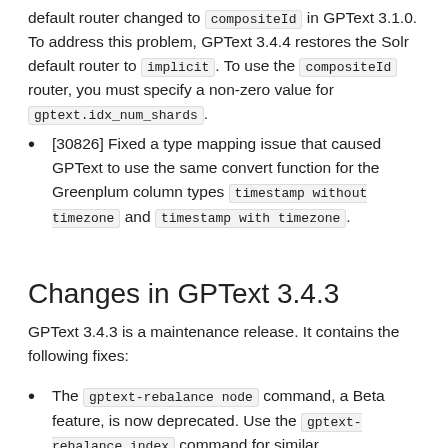default router changed to compositeId in GPText 3.1.0. To address this problem, GPText 3.4.4 restores the Solr default router to implicit. To use the compositeId router, you must specify a non-zero value for gptext.idx_num_shards.
[30826] Fixed a type mapping issue that caused GPText to use the same convert function for the Greenplum column types timestamp without timezone and timestamp with timezone.
Changes in GPText 3.4.3
GPText 3.4.3 is a maintenance release. It contains the following fixes:
The gptext-rebalance node command, a Beta feature, is now deprecated. Use the gptext-rebalance index command for similar